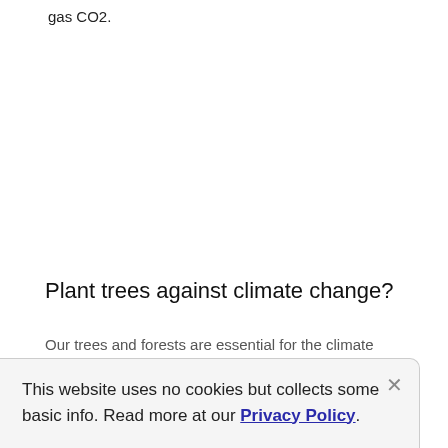gas CO2.
Plant trees against climate change?
Our trees and forests are essential for the climate
This website uses no cookies but collects some basic info. Read more at our Privacy Policy.